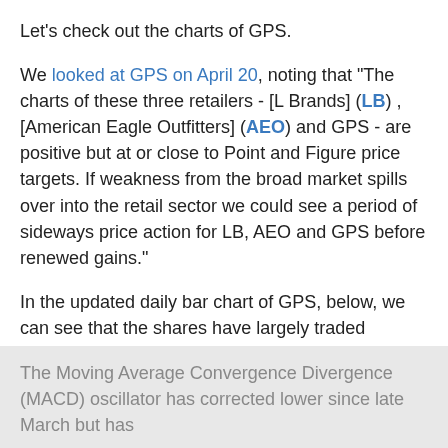Let's check out the charts of GPS.
We looked at GPS on April 20, noting that "The charts of these three retailers - [L Brands] (LB) , [American Eagle Outfitters] (AEO) and GPS - are positive but at or close to Point and Figure price targets. If weakness from the broad market spills over into the retail sector we could see a period of sideways price action for LB, AEO and GPS before renewed gains."
In the updated daily bar chart of GPS, below, we can see that the shares have largely traded sideways since late April. The On-Balance-Volume (OBV) line has been steady/flat the past two months. The slopes of the 50-day moving average and the 200-day average are positive. GPS tested the 50-day line last month.
The Moving Average Convergence Divergence (MACD) oscillator has corrected lower since late March but has